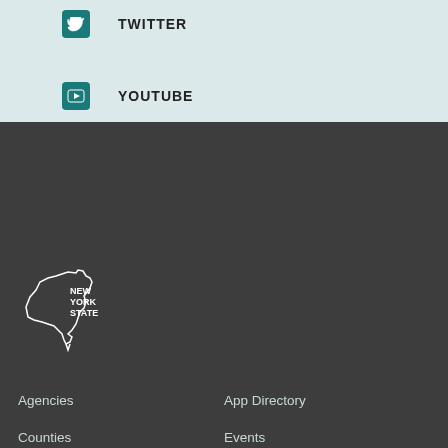TWITTER
YOUTUBE
[Figure (logo): New York State outline logo with text NEW YORK STATE]
Agencies
App Directory
Counties
Events
Programs
Services